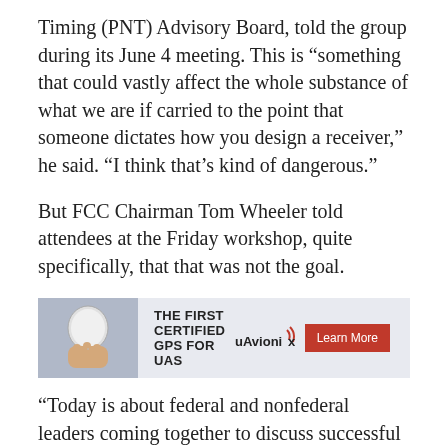Timing (PNT) Advisory Board, told the group during its June 4 meeting. This is “something that could vastly affect the whole substance of what we are if carried to the point that someone dictates how you design a receiver,” he said. “I think that’s kind of dangerous.”
But FCC Chairman Tom Wheeler told attendees at the Friday workshop, quite specifically, that that was not the goal.
[Figure (infographic): Advertisement banner for uAvionix: THE FIRST CERTIFIED GPS FOR UAS with a Learn More button and uAvionix logo. Shows a hand holding a small white GPS device.]
“Today is about federal and nonfederal leaders coming together to discuss successful industry-driven collaborations and GPS receiver performance. These are not abstract issues,” Wheeler told the audience. “But let me also be specific about what today is not. It